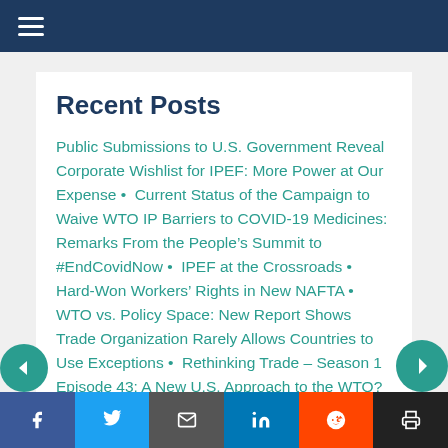≡ (hamburger menu)
Recent Posts
Public Submissions to U.S. Government Reveal Corporate Wishlist for IPEF: More Power at Our Expense • Current Status of the Campaign to Waive WTO IP Barriers to COVID-19 Medicines: Remarks From the People's Summit to #EndCovidNow • IPEF at the Crossroads • Hard-Won Workers' Rights in New NAFTA • WTO vs. Policy Space: New Report Shows Trade Organization Rarely Allows Countries to Use Exceptions • Rethinking Trade – Season 1 Episode 43: A New U.S. Approach to the WTO? MC12, Part 2 • Rethinking Trade – Season 1 Episode 42: MC12, Part 1: Danger and Opportunity at the 12th WTO Ministerial • Rethinking Trade – Season 1 Episo...
Facebook | Twitter | Email | LinkedIn | Reddit | Print